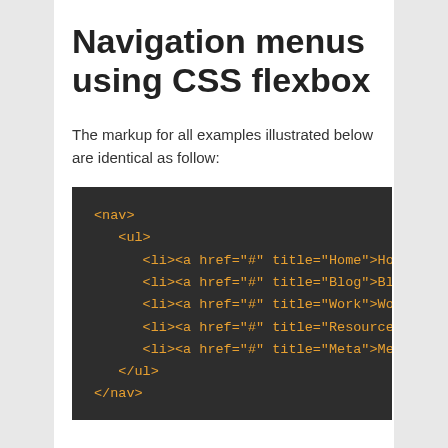Navigation menus using CSS flexbox
The markup for all examples illustrated below are identical as follow:
[Figure (screenshot): Dark-themed code block showing HTML markup for a navigation menu with <nav>, <ul>, and five <li> elements with anchor tags for Home, Blog, Work, Resources, and Meta, then closing </ul> and </nav> tags, displayed in orange monospace font on dark background.]